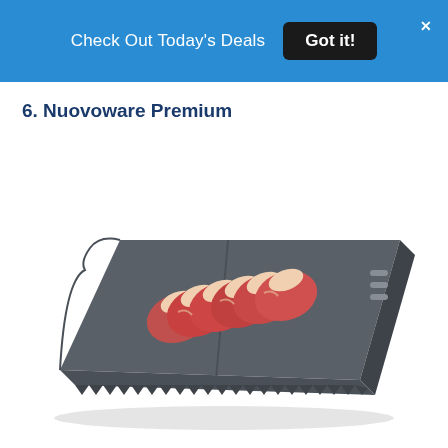Check Out Today's Deals  Got it!
6. Nuovoware Premium
[Figure (photo): A dark gray metal defrosting tray/board with serrated edges on one side and small buttons on the right side. Several raw pork chops or lamb chops are placed on top of the tray.]